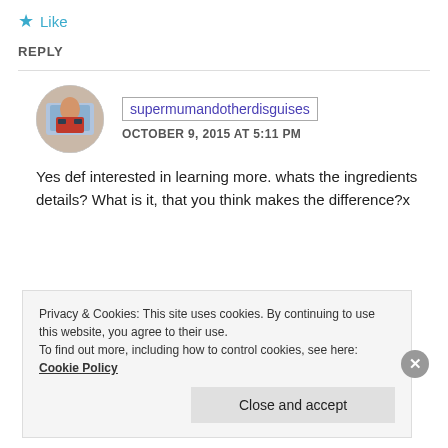★ Like
REPLY
supermumandotherdisguises
OCTOBER 9, 2015 AT 5:11 PM
Yes def interested in learning more. whats the ingredients details? What is it, that you think makes the difference?x
Privacy & Cookies: This site uses cookies. By continuing to use this website, you agree to their use.
To find out more, including how to control cookies, see here: Cookie Policy
Close and accept